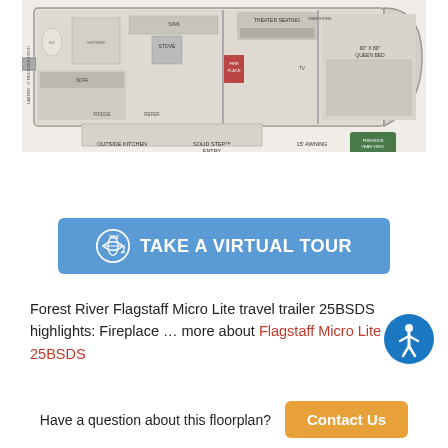[Figure (engineering-diagram): RV floorplan diagram for Forest River Flagstaff Micro Lite 25BSDS travel trailer showing top-down interior layout with theater seating, queen bed, outside kitchen, solid step entry, fireplace, bath, and 15' awning]
360° TAKE A VIRTUAL TOUR
Forest River Flagstaff Micro Lite travel trailer 25BSDS highlights: Fireplace … more about Flagstaff Micro Lite 25BSDS
Have a question about this floorplan?
Contact Us